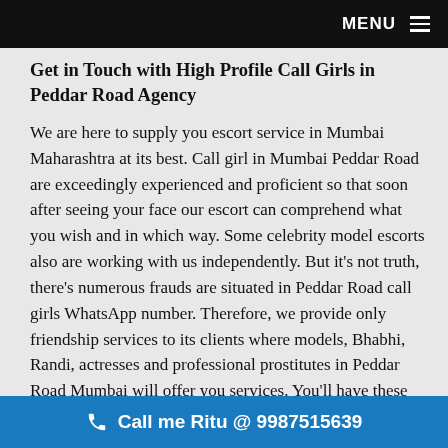MENU ☰
Get in Touch with High Profile Call Girls in Peddar Road Agency
We are here to supply you escort service in Mumbai Maharashtra at its best. Call girl in Mumbai Peddar Road are exceedingly experienced and proficient so that soon after seeing your face our escort can comprehend what you wish and in which way. Some celebrity model escorts also are working with us independently. But it's not truth, there's numerous frauds are situated in Peddar Road call girls WhatsApp number. Therefore, we provide only friendship services to its clients where models, Bhabhi, Randi, actresses and professional prostitutes in Peddar Road Mumbai will offer you services. You'll have these wonderful independent call girls in Peddar Road
📞 Call me Ritu @ 9987515639